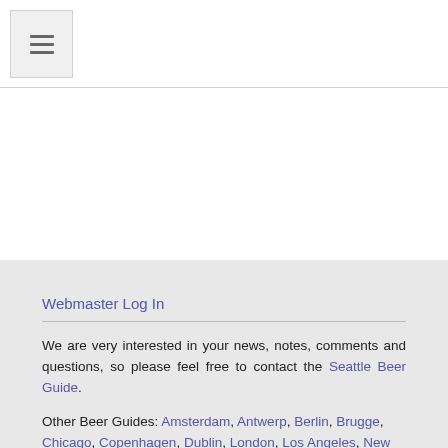☰ (navigation menu icon)
Webmaster Log In
We are very interested in your news, notes, comments and questions, so please feel free to contact the Seattle Beer Guide.
Other Beer Guides: Amsterdam, Antwerp, Berlin, Brugge, Chicago, Copenhagen, Dublin, London, Los Angeles, New York, Portland, Prague, Stockholm, Vancouver, and Bamberg & Franconia